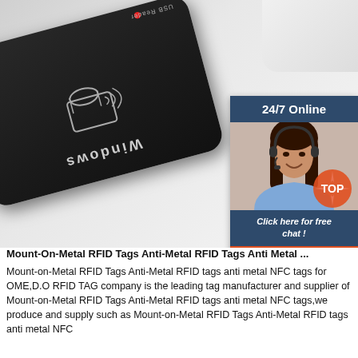[Figure (photo): Product photo of a black RFID USB reader device on a white surface, shown at an angle with a USB cable, labeled 'Windows' and featuring a contactless card icon. Accompanied by a 24/7 Online customer service chat widget showing a smiling woman with a headset.]
Mount-On-Metal RFID Tags Anti-Metal RFID Tags Anti Metal ...
Mount-on-Metal RFID Tags Anti-Metal RFID tags anti metal NFC tags for OME,D.O RFID TAG company is the leading tag manufacturer and supplier of Mount-on-Metal RFID Tags Anti-Metal RFID tags anti metal NFC tags,we produce and supply such as Mount-on-Metal RFID Tags Anti-Metal RFID tags anti metal NFC